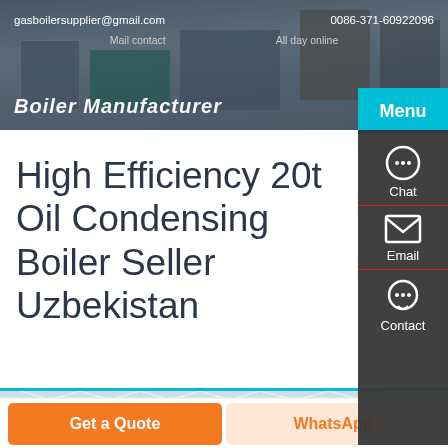gasboilersupplier@gmail.com   0086-371-60922096   Mail contact   All day online
High Efficiency 20t Oil Condensing Boiler Seller Uzbekistan
[Figure (photo): Interior of a boiler manufacturing factory showing metal roof trusses and industrial boiler equipment]
Get a Quote
WhatsApp